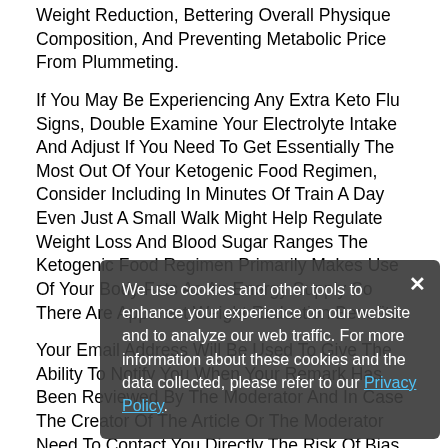Weight Reduction, Bettering Overall Physique Composition, And Preventing Metabolic Price From Plummeting.
If You May Be Experiencing Any Extra Keto Flu Signs, Double Examine Your Electrolyte Intake And Adjust If You Need To Get Essentially The Most Out Of Your Ketogenic Food Regimen, Consider Including In Minutes Of Train A Day Even Just A Small Walk Might Help Regulate Weight Loss And Blood Sugar Ranges The Ketogenic Food Regimen Primarily Makes Use Of Your Body Fats As An Energy Supply So There Are Apparent Weight Reduction Benefits.
Your Email Address Will Be Used To Give The Ability To Notify You When Your Remark Has Been Reviewed By The Moderator And In Case The Creator Of The Article Or The Moderator Need To Contact You Directly The Risk Of Bias
Sf180 Keto Shark Tank Within The Studies On The Primary
We use cookies and other tools to enhance your experience on our website and to analyze our web traffic. For more information about these cookies and the data collected, please refer to our Privacy Policy.